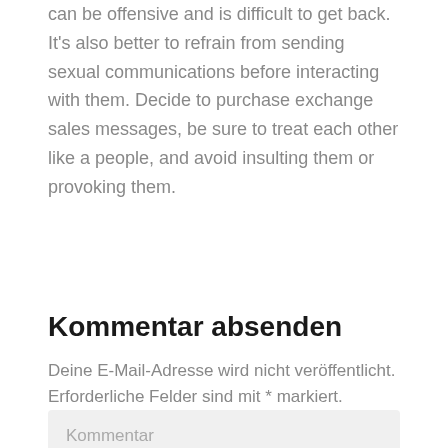can be offensive and is difficult to get back. It's also better to refrain from sending sexual communications before interacting with them. Decide to purchase exchange sales messages, be sure to treat each other like a people, and avoid insulting them or provoking them.
Kommentar absenden
Deine E-Mail-Adresse wird nicht veröffentlicht. Erforderliche Felder sind mit * markiert.